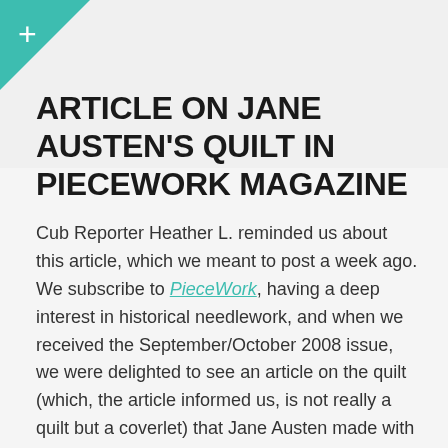ARTICLE ON JANE AUSTEN'S QUILT IN PIECEWORK MAGAZINE
Cub Reporter Heather L. reminded us about this article, which we meant to post a week ago. We subscribe to PieceWork, having a deep interest in historical needlework, and when we received the September/October 2008 issue, we were delighted to see an article on the quilt (which, the article informed us, is not really a quilt but a coverlet) that Jane Austen made with her mother and sister, which we (and no doubt many of our readers) have seen displayed at